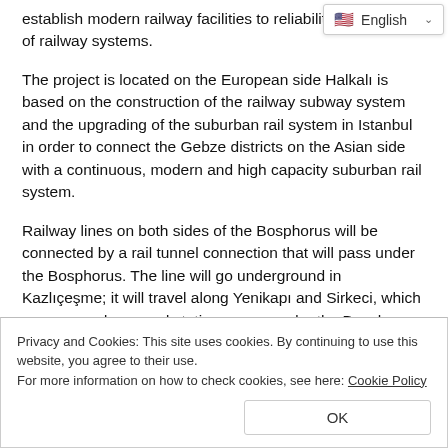establish modern railway facilities to reliability and comfort of railway systems.
The project is located on the European side Halkalı is based on the construction of the railway subway system and the upgrading of the suburban rail system in Istanbul in order to connect the Gebze districts on the Asian side with a continuous, modern and high capacity suburban rail system.
Railway lines on both sides of the Bosphorus will be connected by a rail tunnel connection that will pass under the Bosphorus. The line will go underground in Kazlıçeşme; it will travel along Yenikapı and Sirkeci, which are new underground stations, pass under the Bosphorus, and connect to Üsküdar, another new
Privacy and Cookies: This site uses cookies. By continuing to use this website, you agree to their use.
For more information on how to check cookies, see here: Cookie Policy
OK